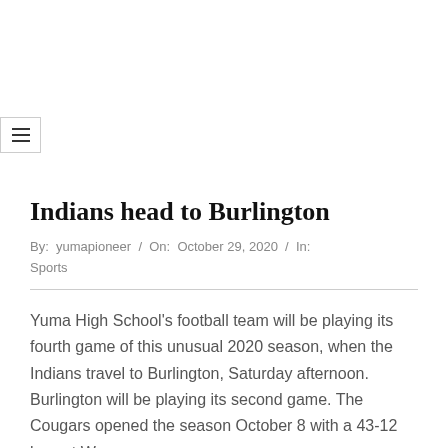[Figure (other): Hamburger menu icon button with three horizontal lines, bordered box]
Indians head to Burlington
By: yumapioneer / On: October 29, 2020 / In: Sports
Yuma High School's football team will be playing its fourth game of this unusual 2020 season, when the Indians travel to Burlington, Saturday afternoon. Burlington will be playing its second game. The Cougars opened the season October 8 with a 43-12 loss at Wray.